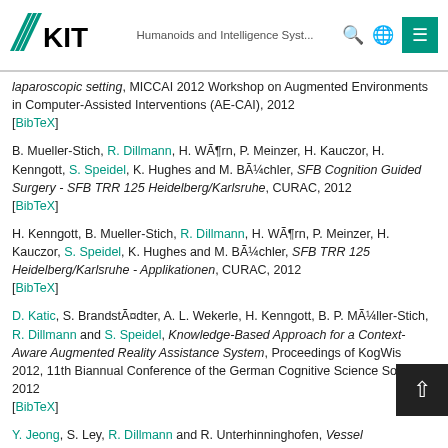KIT — Humanoids and Intelligence Syst...
laparoscopic setting, MICCAI 2012 Workshop on Augmented Environments in Computer-Assisted Interventions (AE-CAI), 2012 [BibTeX]
B. Mueller-Stich, R. Dillmann, H. Wörn, P. Meinzer, H. Kauczor, H. Kenngott, S. Speidel, K. Hughes and M. Büchler, SFB Cognition Guided Surgery - SFB TRR 125 Heidelberg/Karlsruhe, CURAC, 2012 [BibTeX]
H. Kenngott, B. Mueller-Stich, R. Dillmann, H. Wörn, P. Meinzer, H. Kauczor, S. Speidel, K. Hughes and M. Büchler, SFB TRR 125 Heidelberg/Karlsruhe - Applikationen, CURAC, 2012 [BibTeX]
D. Katic, S. Brandstädter, A. L. Wekerle, H. Kenngott, B. P. Müller-Stich, R. Dillmann and S. Speidel, Knowledge-Based Approach for a Context-Aware Augmented Reality Assistance System, Proceedings of KogWis 2012, 11th Biannual Conference of the German Cognitive Science Society, 2012 [BibTeX]
Y. Jeong, S. Ley, R. Dillmann and R. Unterhinninghofen, Vessel...